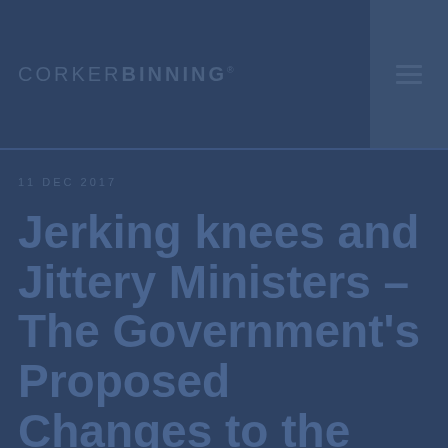CORKERBINNING®
11 Dec 2017
Jerking knees and Jittery Ministers – The Government's Proposed Changes to the Offence of Collecting Terrorist Information